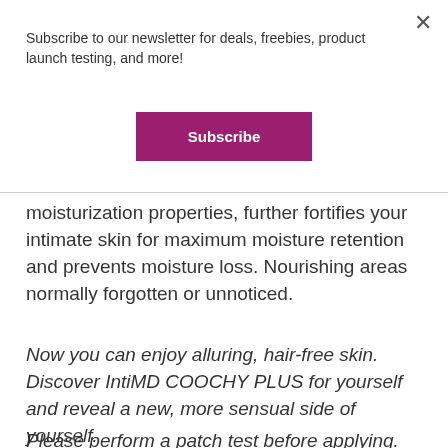Subscribe to our newsletter for deals, freebies, product launch testing, and more!
[Figure (other): Subscribe button - magenta/purple rounded rectangle button with white text 'Subscribe']
moisturization properties, further fortifies your intimate skin for maximum moisture retention and prevents moisture loss. Nourishing areas normally forgotten or unnoticed.
Now you can enjoy alluring, hair-free skin. Discover IntiMD COOCHY PLUS for yourself and reveal a new, more sensual side of yourself.
Please perform a patch test before applying.